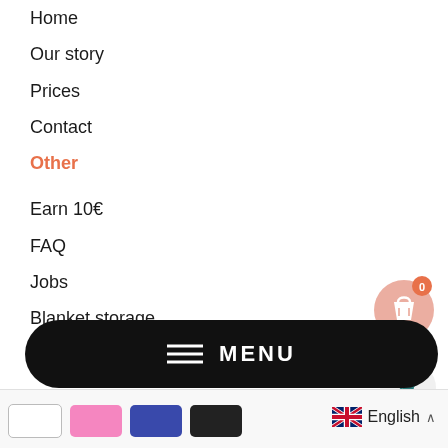Home
Our story
Prices
Contact
Other
Earn 10€
FAQ
Jobs
Blanket storage
Legal information
Cookies
Site notice
Data protection
General terms and conditions
[Figure (illustration): Orange shopping bag icon with badge showing 0]
[Figure (illustration): Teal horse head silhouette icon on white circle]
[Figure (other): Black pill-shaped MENU button with hamburger icon]
[Figure (other): Bottom navigation bar with partial tab buttons and English language selector with UK flag]